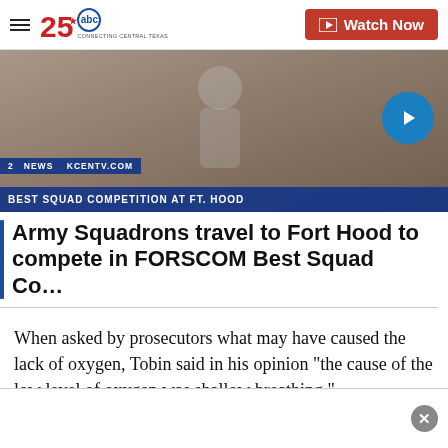[Figure (screenshot): Website navigation bar with hamburger menu, KCENTV 25 ABC logo ('Connecting Central Texas'), and a red 'Watch Now' button on the right]
[Figure (screenshot): News video thumbnail showing a person outdoors with blue news bar reading 'BEST SQUAD COMPETITION AT FT. HOOD' and a circular play arrow button]
Army Squadrons travel to Fort Hood to compete in FORSCOM Best Squad Co…
When asked by prosecutors what may have caused the lack of oxygen, Tobin said in his opinion "the cause of the low level of oxygen was shallow breathing."
Tobin added that if the heart disease was causing trouble breathing, Floyd would "have been
[Figure (other): White advertisement overlay bar at the bottom with a grey close (X) button]